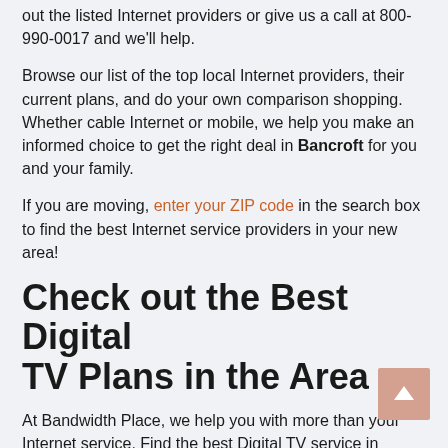out the listed Internet providers or give us a call at 800-990-0017 and we'll help.
Browse our list of the top local Internet providers, their current plans, and do your own comparison shopping. Whether cable Internet or mobile, we help you make an informed choice to get the right deal in Bancroft for you and your family.
If you are moving, enter your ZIP code in the search box to find the best Internet service providers in your new area!
Check out the Best Digital TV Plans in the Area
At Bandwidth Place, we help you with more than your Internet service. Find the best Digital TV service in Bancroft with a simple click of the button. Whether you